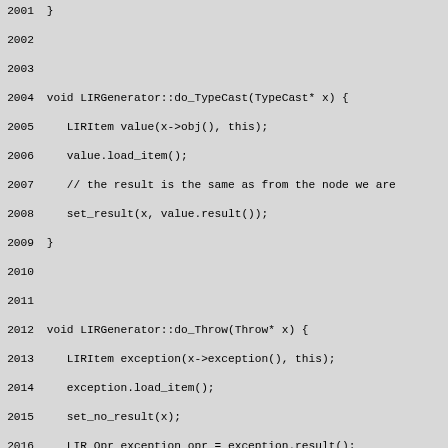[Figure (screenshot): Source code listing showing C++ methods LIRGenerator::do_TypeCast and LIRGenerator::do_Throw with line numbers 2001-2030, displayed on a grey background in monospace font.]